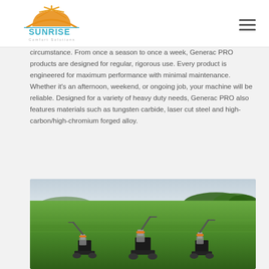Sunrise Comfort Solutions
circumstance. From once a season to once a week, Generac PRO products are designed for regular, rigorous use. Every product is engineered for maximum performance with minimal maintenance. Whether it's an afternoon, weekend, or ongoing job, your machine will be reliable. Designed for a variety of heavy duty needs, Generac PRO also features materials such as tungsten carbide, laser cut steel and high-carbon/high-chromium forged alloy.
[Figure (photo): Outdoor field scene with green grass, trees in background, and three Generac PRO lawn mowers with orange accents positioned on the grass.]